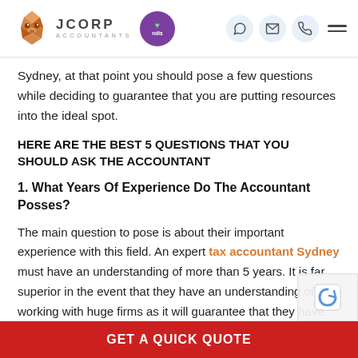JCORP ACCOUNTANTS
Sydney, at that point you should pose a few questions while deciding to guarantee that you are putting resources into the ideal spot.
HERE ARE THE BEST 5 QUESTIONS THAT YOU SHOULD ASK THE ACCOUNTANT
1. What Years Of Experience Do The Accountant Posses?
The main question to pose is about their important experience with this field. An expert tax accountant Sydney must have an understanding of more than 5 years. It is far superior in the event that they have an understanding of working with huge firms as it will guarantee that they have an understanding of taking care of a greater arrangemen
GET A QUICK QUOTE